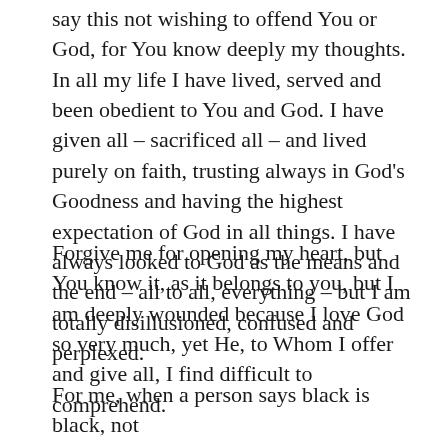say this not wishing to offend You or God, for You know deeply my thoughts. In all my life I have lived, served and been obedient to You and God. I have given all – sacrificed all – and lived purely on faith, trusting always in God's Goodness and having the highest expectation of God in all things. I have always looked to God as the means and the end – all to all, everything – but I am totally disillusioned, confused and perplexed.
Forgive me for opening my heart, but You know it, as it belongs to you, but I am deeply wounded because I love God so very much, yet He, to Whom I offer and give all, I find difficult to comprehend.
For me, when a person says black is black, not white and white is white, not black, I expect the